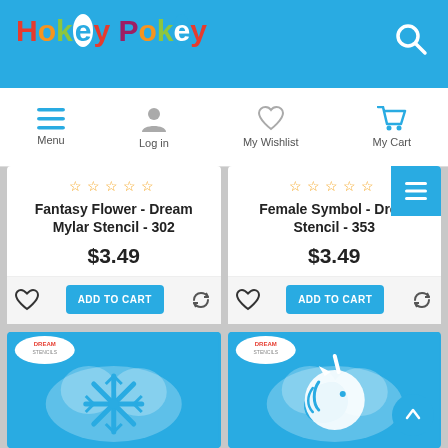HokeyPokey - online store header with logo and navigation
Menu | Log in | My Wishlist | My Cart
Fantasy Flower - Dream Mylar Stencil - 302
$3.49
ADD TO CART
Female Symbol - Dream Stencil - 353
$3.49
ADD TO CART
[Figure (photo): Product image: snowflake stencil on teal/blue background with Dream Stencils logo]
[Figure (photo): Product image: unicorn stencil on teal/blue background with Dream Stencils logo]